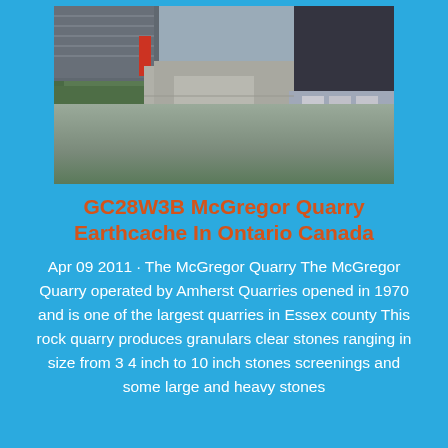[Figure (photo): Aerial drone view of an industrial/warehouse facility with large grey metal buildings, green trees along the left, a parking area with trucks and vehicles on the right, and concrete/gravel ground surfaces.]
GC28W3B McGregor Quarry Earthcache In Ontario Canada
Apr 09 2011 · The McGregor Quarry The McGregor Quarry operated by Amherst Quarries opened in 1970 and is one of the largest quarries in Essex county This rock quarry produces granulars clear stones ranging in size from 3 4 inch to 10 inch stones screenings and some large and heavy stones